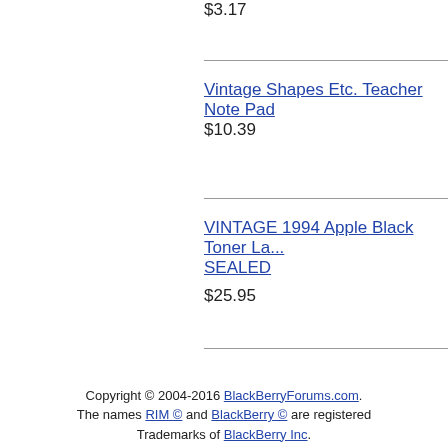$3.17
Vintage Shapes Etc. Teacher Note Pad
$10.39
VINTAGE 1994 Apple Black Toner La... SEALED
$25.95
Copyright © 2004-2016 BlackBerryForums.com. The names RIM © and BlackBerry © are registered Trademarks of BlackBerry Inc.